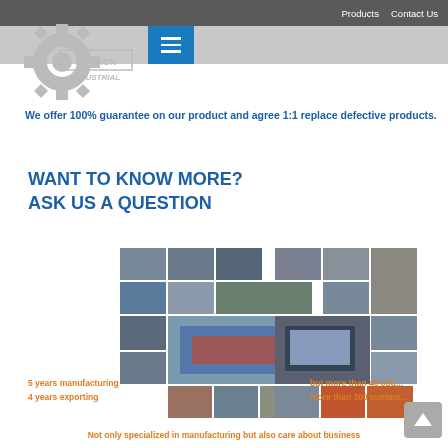Products  Contact Us
5. What's your after-sale service?
We offer 100% guarantee on our product and agree 1:1 replace defective products.
WANT TO KNOW MORE?
ASK US A QUESTION
[Figure (photo): Collage of company photos showing manufacturing, team members, exporting activities, and business events]
5 years manufacturing
4 years exporting
but more than 40 cou...
more than 300 custom...
Not only specialized in manufacturing but also care about business